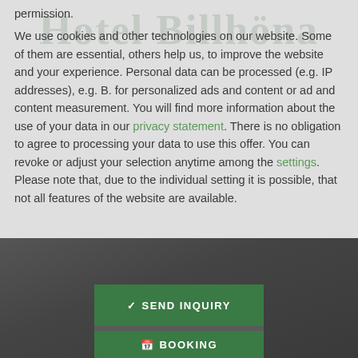permission. We use cookies and other technologies on our website. Some of them are essential, others help us, to improve the website and your experience. Personal data can be processed (e.g. IP addresses), e.g. B. for personalized ads and content or ad and content measurement. You will find more information about the use of your data in our privacy statement. There is no obligation to agree to processing your data to use this offer. You can revoke or adjust your selection anytime among the settings. Please note that, due to the individual setting it is possible, that not all features of the website are available.
[Figure (screenshot): Hotel website screenshot showing Send Inquiry and Booking buttons on a dark background]